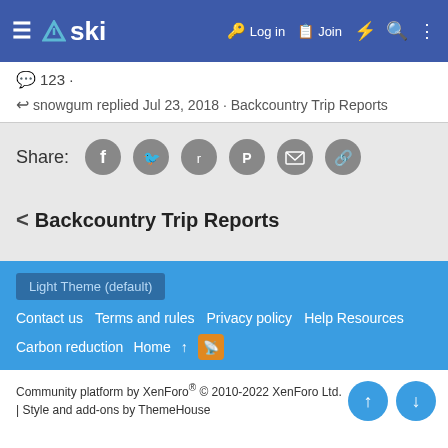ski Log in Join
123 ·
snowgum replied Jul 23, 2018 · Backcountry Trip Reports
Share:
< Backcountry Trip Reports
Light Theme (default)
Contact us  Terms and rules  Privacy policy  Help Resources  Carbon reduction  Home
Community platform by XenForo® © 2010-2022 XenForo Ltd. | Style and add-ons by ThemeHouse